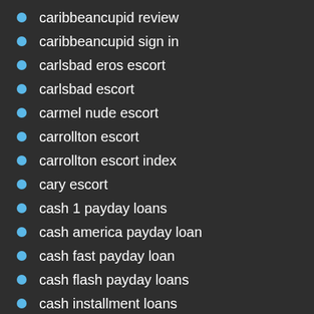caribbeancupid review
caribbeancupid sign in
carlsbad eros escort
carlsbad escort
carmel nude escort
carrollton escort
carrollton escort index
cary escort
cash 1 payday loans
cash america payday loan
cash fast payday loan
cash flash payday loans
cash installment loans
cash jar payday loans
cash net pay day loan